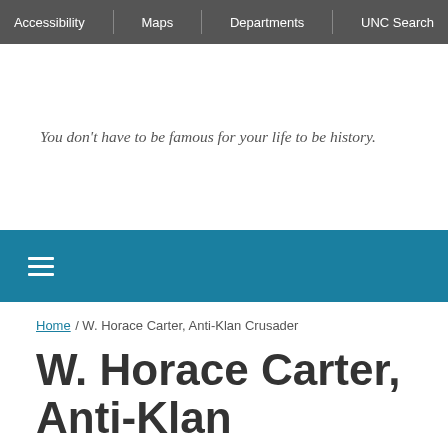Accessibility | Maps | Departments | UNC Search
You don't have to be famous for your life to be history.
≡
Home / W. Horace Carter, Anti-Klan Crusader
W. Horace Carter, Anti-Klan Crusader